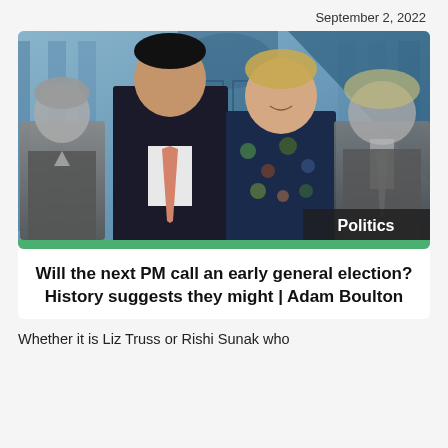September 2, 2022
[Figure (photo): Photo showing four politicians standing in front of Downing Street: Theresa May (left, greyed out), Rishi Sunak (second from left, dark suit, salmon tie), Liz Truss (centre-right, floral dress), Boris Johnson (far right, greyed out). A 'Politics' label badge appears in the bottom-right of the image. A green bar runs along the very bottom of the image.]
Will the next PM call an early general election? History suggests they might | Adam Boulton
Whether it is Liz Truss or Rishi Sunak who